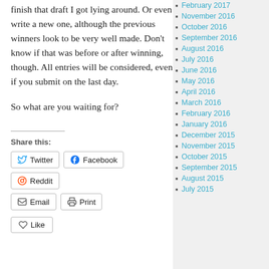finish that draft I got lying around. Or even write a new one, although the previous winners look to be very well made. Don't know if that was before or after winning, though. All entries will be considered, even if you submit on the last day.
So what are you waiting for?
Share this:
Twitter
Facebook
Reddit
Email
Print
February 2017
November 2016
October 2016
September 2016
August 2016
July 2016
June 2016
May 2016
April 2016
March 2016
February 2016
January 2016
December 2015
November 2015
October 2015
September 2015
August 2015
July 2015